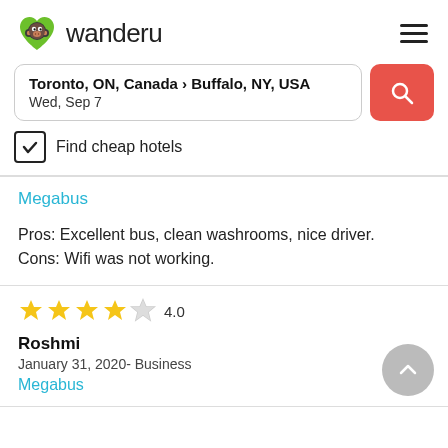[Figure (logo): Wanderu logo: green heart-shaped monkey face icon with 'wanderu' text]
Toronto, ON, Canada › Buffalo, NY, USA
Wed, Sep 7
Find cheap hotels
Megabus
Pros: Excellent bus, clean washrooms, nice driver.
Cons: Wifi was not working.
★★★★☆ 4.0
Roshmi
January 31, 2020- Business
Megabus